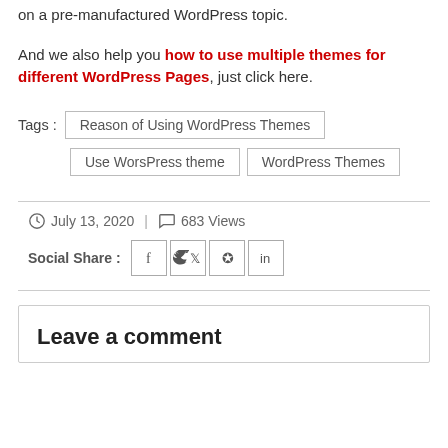on a pre-manufactured WordPress topic.
And we also help you how to use multiple themes for different WordPress Pages, just click here.
Tags : Reason of Using WordPress Themes | Use WorsPress theme | WordPress Themes
July 13, 2020 | 683 Views
Social Share : Facebook Twitter Pinterest LinkedIn
Leave a comment